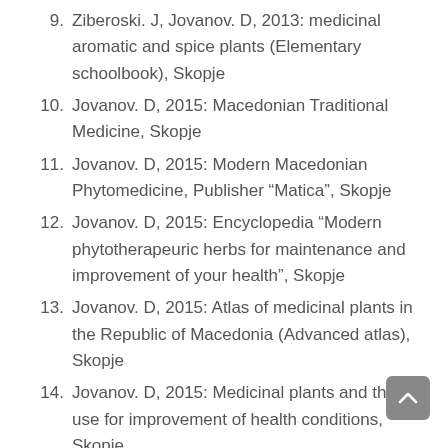9. Ziberoski. J, Jovanov. D, 2013: medicinal aromatic and spice plants (Elementary schoolbook), Skopje
10. Jovanov. D, 2015: Macedonian Traditional Medicine, Skopje
11. Jovanov. D, 2015: Modern Macedonian Phytomedicine, Publisher “Matica”, Skopje
12. Jovanov. D, 2015: Encyclopedia “Modern phytotherapeuric herbs for maintenance and improvement of your health”, Skopje
13. Jovanov. D, 2015: Atlas of medicinal plants in the Republic of Macedonia (Advanced atlas), Skopje
14. Jovanov. D, 2015: Medicinal plants and their use for improvement of health conditions, Skopje
15. Jovanov. D, Cvetanoska. I, 2015: Modern phytotherapeutical protection in stomatology, Skopje